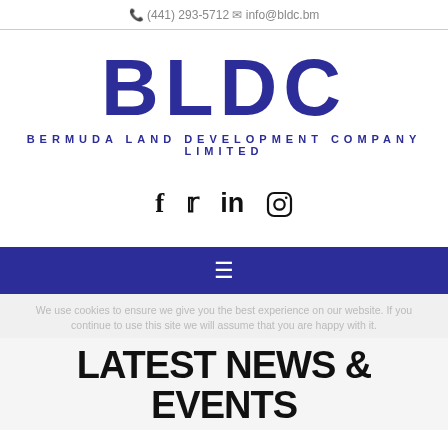(441) 293-5712   info@bldc.bm
[Figure (logo): BLDC - Bermuda Land Development Company Limited logo, large bold dark blue letters with subtitle]
[Figure (infographic): Social media icons: Facebook, Twitter, LinkedIn, Instagram]
[Figure (infographic): Dark blue navigation bar with hamburger menu icon (three horizontal lines)]
We use cookies to ensure we give you the best experience on our website. If you continue to use this site we will assume that you are happy with it.
LATEST NEWS & EVENTS